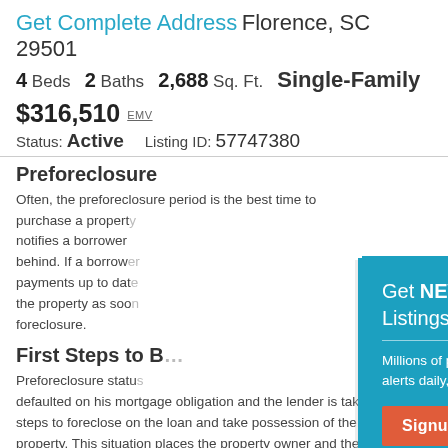Get Complete Address Florence, SC 29501
4 Beds  2 Baths  2,688 Sq. Ft.  Single-Family
$316,510 EMV
Status: Active    Listing ID: 57747380
Preforeclosure
Often, the preforeclosure period is the best time to purchase a property notifies a borrower behind. If a borrower payments up to date the property as soon foreclosure.
First Steps to B
Preforeclosure status defaulted on his mortgage obligation and the lender is taking steps to foreclose on the loan and take possession of the property. This situation places the property owner and the
[Figure (screenshot): Modal popup overlay with teal background promoting foreclosure listing alerts. Contains heading 'Get NEW Foreclosure Listings sent to your inbox', subtext 'Millions of people receive foreclosure alerts daily, don’t miss out.', a red 'Signup Here' button, a white mail envelope icon, and links 'No Thanks | Remind Me Later'.]